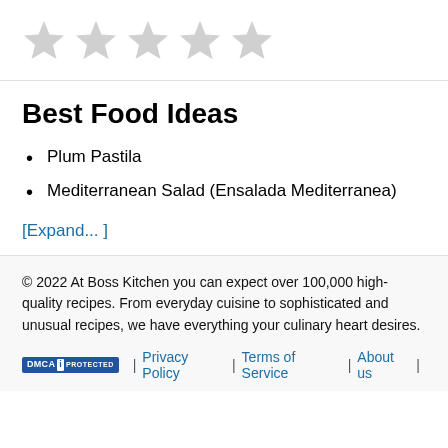[Figure (other): Five empty/unrated star icons in a row, light gray color]
Best Food Ideas
Plum Pastila
Mediterranean Salad (Ensalada Mediterranea)
[Expand... ]
© 2022 At Boss Kitchen you can expect over 100,000 high-quality recipes. From everyday cuisine to sophisticated and unusual recipes, we have everything your culinary heart desires.
DMCA PROTECTED | Privacy Policy | Terms of Service | About us |